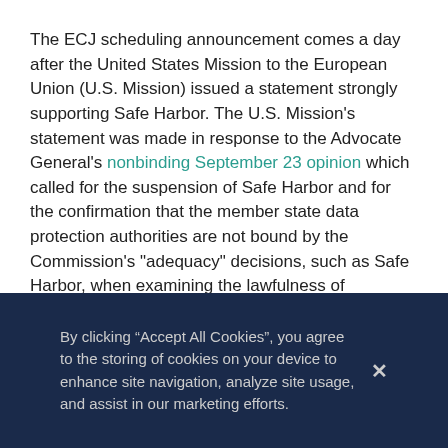The ECJ scheduling announcement comes a day after the United States Mission to the European Union (U.S. Mission) issued a statement strongly supporting Safe Harbor. The U.S. Mission's statement was made in response to the Advocate General's nonbinding September 23 opinion which called for the suspension of Safe Harbor and for the confirmation that the member state data protection authorities are not bound by the Commission's "adequacy" decisions, such as Safe Harbor, when examining the lawfulness of international data transfers.
The U.S. Mission's September 28 statement attempts to set the record straight on several points including what the U.S. Mission's statement refers to as "numerous
By clicking “Accept All Cookies”, you agree to the storing of cookies on your device to enhance site navigation, analyze site usage, and assist in our marketing efforts.